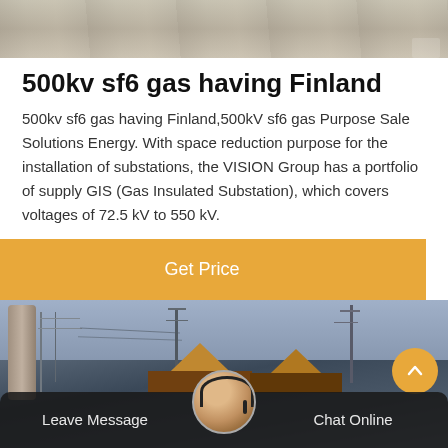[Figure (photo): Top portion of an outdoor scene, partially visible at top of page]
500kv sf6 gas having Finland
500kv sf6 gas having Finland,500kV sf6 gas Purpose Sale Solutions Energy. With space reduction purpose for the installation of substations, the VISION Group has a portfolio of supply GIS (Gas Insulated Substation), which covers voltages of 72.5 kV to 550 kV.
[Figure (other): Orange 'Get Price' button]
[Figure (photo): Bottom photo of electrical substation with transmission towers and triangular roof structures, with scroll-up button and bottom navigation bar showing Leave Message, avatar, and Chat Online]